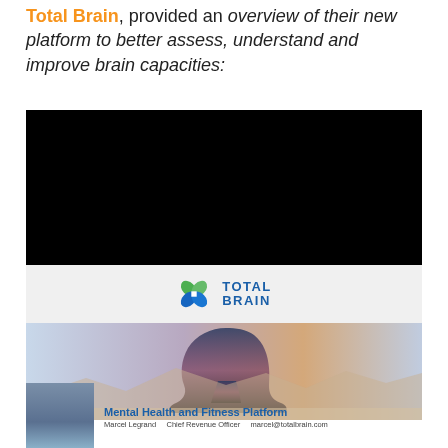Total Brain, provided an overview of their new platform to better assess, understand and improve brain capacities:
[Figure (photo): Black rectangle representing an embedded video player (video content not visible)]
[Figure (logo): Total Brain logo: green and blue flower/brain icon with TOTAL BRAIN text in blue on a light grey background strip]
[Figure (photo): Slide image showing a woman's profile silhouette with a mountain landscape double-exposure effect, from a Total Brain presentation]
[Figure (photo): Small photo of a man (Marcel Legrand) and presentation slide title Mental Health and Fitness Platform, Marcel Legrand, Chief Revenue Officer, marcel@totalbrain.com]